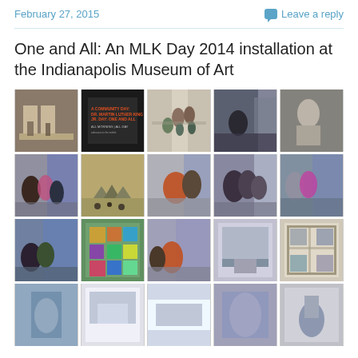February 27, 2015   Leave a reply
One and All: An MLK Day 2014 installation at the Indianapolis Museum of Art
[Figure (photo): Grid of 20 photographs showing the 'One and All: An MLK Day 2014' installation at the Indianapolis Museum of Art, depicting visitors viewing a large photo mosaic wall installation in a gallery setting.]